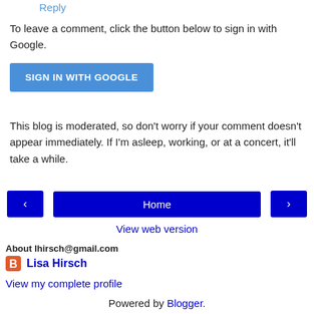Reply
To leave a comment, click the button below to sign in with Google.
[Figure (other): Blue 'SIGN IN WITH GOOGLE' button]
This blog is moderated, so don't worry if your comment doesn't appear immediately. If I'm asleep, working, or at a concert, it'll take a while.
[Figure (other): Navigation row with left arrow button, Home button, and right arrow button]
View web version
About lhirsch@gmail.com
Lisa Hirsch
View my complete profile
Powered by Blogger.